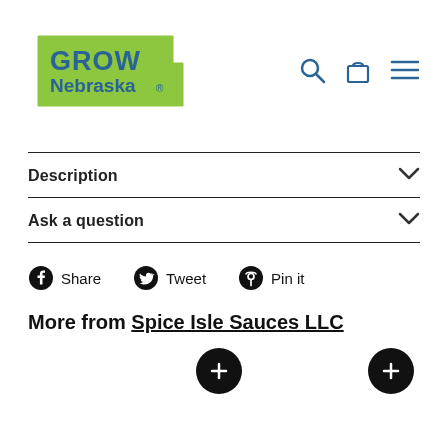[Figure (logo): Grow Nebraska logo - green Nebraska state shape with 'GROW Nebraska' text in teal/blue]
[Figure (other): Navigation icons: search magnifier, shopping bag, hamburger menu in blue]
Description
Ask a question
Share  Tweet  Pin it
More from Spice Isle Sauces LLC